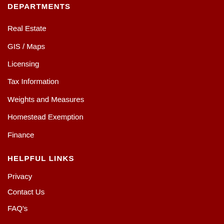DEPARTMENTS
Real Estate
GIS / Maps
Licensing
Tax Information
Weights and Measures
Homestead Exemption
Finance
HELPFUL LINKS
Privacy
Contact Us
FAQ's
USING THIS SITE
Accessibility